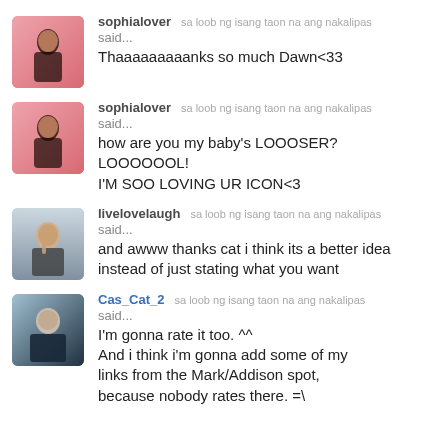sophialover — sa loob ng isang taon na ang nakalipas
said...
Thaaaaaaaaanks so much Dawn<33
sophialover — sa loob ng isang taon na ang nakalipas
said...
how are you my baby's LOOOSER? LOOOOOOL!
I'M SOO LOVING UR ICON<3
livelovelaugh — sa loob ng isang taon na ang nakalipas
said...
and awww thanks cat i think its a better idea instead of just stating what you want
Cas_Cat_2 — sa loob ng isang taon na ang nakalipas
said...
I'm gonna rate it too. ^^
And i think i'm gonna add some of my links from the Mark/Addison spot, because nobody rates there. =\